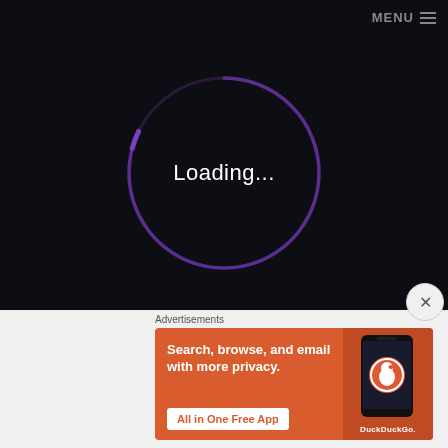MENU ≡
[Figure (screenshot): Dark background loading screen with a purple circular loading spinner and 'Loading...' text in white in the center]
Loading...
[Figure (screenshot): Close/dismiss button (X in circle) overlaying the bottom-right of the dark area]
Advertisements
[Figure (other): DuckDuckGo advertisement banner: orange background with text 'Search, browse, and email with more privacy. All in One Free App' and a phone image showing the DuckDuckGo app logo and name]